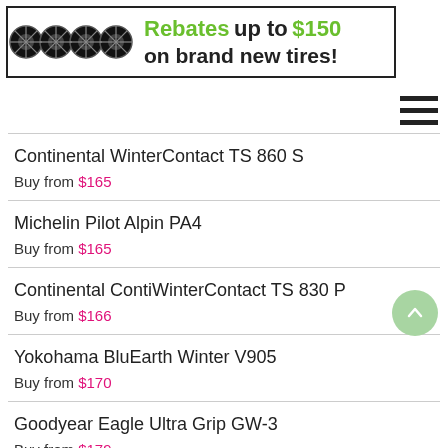[Figure (infographic): Banner advertisement showing four black car tires on the left and text: 'Rebates up to $150 on brand new tires!' with a hamburger menu icon on the right.]
Continental WinterContact TS 860 S
Buy from $165
Michelin Pilot Alpin PA4
Buy from $165
Continental ContiWinterContact TS 830 P
Buy from $166
Yokohama BluEarth Winter V905
Buy from $170
Goodyear Eagle Ultra Grip GW-3
Buy from $179